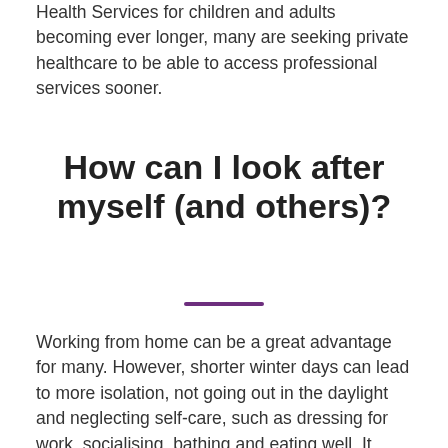Health Services for children and adults becoming ever longer, many are seeking private healthcare to be able to access professional services sooner.
How can I look after myself (and others)?
Working from home can be a great advantage for many. However, shorter winter days can lead to more isolation, not going out in the daylight and neglecting self-care, such as dressing for work, socialising, bathing and eating well. It could be an idea to draw up a timetable for a ‘good day’ (i.e. wake at 7am, half-hour walk or maybe yoga, 7.45am good breakfast, shower, dress for work, and so on). Aim to include the main